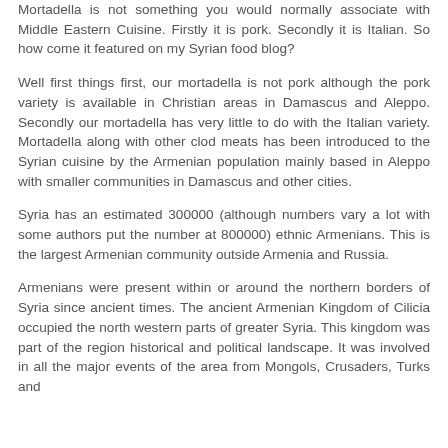Mortadella is not something you would normally associate with Middle Eastern Cuisine. Firstly it is pork. Secondly it is Italian. So how come it featured on my Syrian food blog?
Well first things first, our mortadella is not pork although the pork variety is available in Christian areas in Damascus and Aleppo. Secondly our mortadella has very little to do with the Italian variety. Mortadella along with other clod meats has been introduced to the Syrian cuisine by the Armenian population mainly based in Aleppo with smaller communities in Damascus and other cities.
Syria has an estimated 300000 (although numbers vary a lot with some authors put the number at 800000) ethnic Armenians. This is the largest Armenian community outside Armenia and Russia.
Armenians were present within or around the northern borders of Syria since ancient times. The ancient Armenian Kingdom of Cilicia occupied the north western parts of greater Syria. This kingdom was part of the region historical and political landscape. It was involved in all the major events of the area from Mongols, Crusaders, Turks and